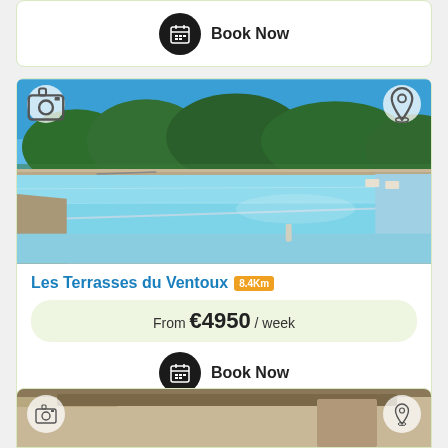Book Now
[Figure (photo): Outdoor swimming pool with blue water, paved surround, trees and blue sky in background]
Les Terrasses du Ventoux 8.4Km
From €4950 / week
Book Now
[Figure (photo): Partial view of interior room, bottom card clipped]